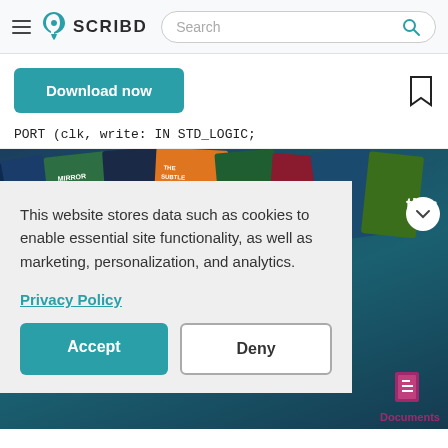SCRIBD — Search bar navigation
[Figure (screenshot): Scribd website header with hamburger menu, Scribd logo and wordmark, and a rounded search bar with magnifying glass icon]
[Figure (screenshot): Download now button (teal) and a bookmark icon]
PORT (clk, write: IN STD_LOGIC;
[Figure (screenshot): Background image of book covers arranged diagonally on a dark teal background, with a white chevron-down button on the right, and partial text 'tips' visible]
This website stores data such as cookies to enable essential site functionality, as well as marketing, personalization, and analytics.
Privacy Policy
Accept
Deny
[Figure (screenshot): Documents icon (dark pink/magenta document icon) with label 'Documents' below it]